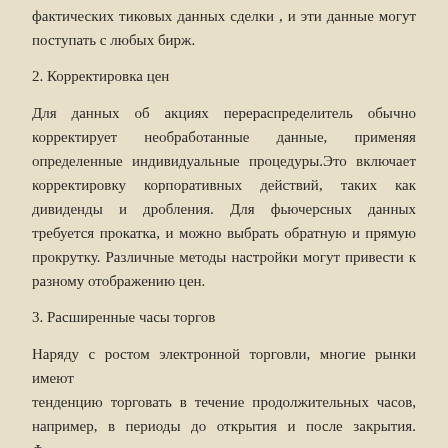фактических тиковых данных сделки , и эти данные могут поступать с любых бирж.
2. Корректировка цен
Для данных об акциях перераспределитель обычно корректирует необработанные данные, применяя определенные индивидуальные процедуры.Это включает корректировку корпоративных действий, таких как дивиденды и дробления. Для фьючерсных данных требуется прокатка, и можно выбрать обратную и прямую прокрутку. Различные методы настройки могут привести к разному отображению цен.
3. Расширенные часы торгов
Наряду с ростом электронной торговли, многие рынки имеют тенденцию торговать в течение продолжительных часов, например, в периоды до открытия и после закрытия. Фьючерсные и валютные рынки даже торгуются круглосуточно.Это приводит к другой свободе в ценовой отчетности: включать ли движение цены в течение